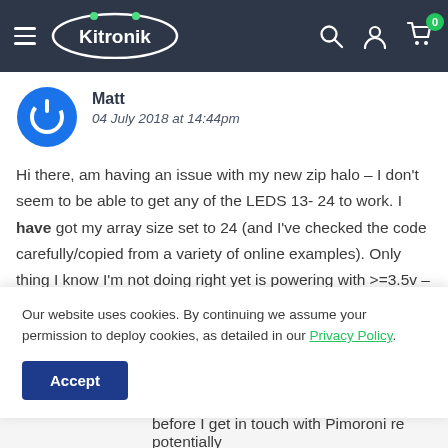Kitronik navigation bar with logo, search, account, and cart icons
Matt
04 July 2018 at 14:44pm
Hi there, am having an issue with my new zip halo – I don't seem to be able to get any of the LEDS 13-24 to work. I have got my array size set to 24 (and I've checked the code carefully/copied from a variety of online examples). Only thing I know I'm not doing right yet is powering with >=3.5v – only have a 2xAAA battery holder right now, so powering
Our website uses cookies. By continuing we assume your permission to deploy cookies, as detailed in our Privacy Policy.
Accept
before I get in touch with Pimoroni re potentially